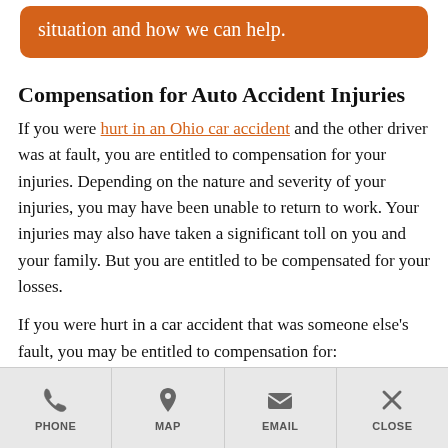situation and how we can help.
Compensation for Auto Accident Injuries
If you were hurt in an Ohio car accident and the other driver was at fault, you are entitled to compensation for your injuries. Depending on the nature and severity of your injuries, you may have been unable to return to work. Your injuries may also have taken a significant toll on you and your family. But you are entitled to be compensated for your losses.
If you were hurt in a car accident that was someone else's fault, you may be entitled to compensation for:
PHONE  MAP  EMAIL  CLOSE